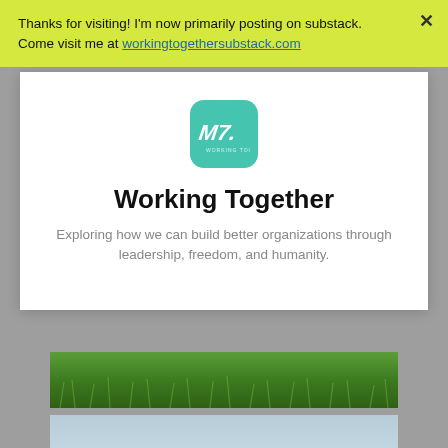Thanks for visiting! I'm now primarily posting on substack. Come visit me at workingtogethersubstack.com
[Figure (logo): Teal rounded-square logo with stylized 'M7.' script text and small subtitle text beneath]
Working Together
Exploring how we can build better organizations through leadership, freedom, and humanity.
[Figure (photo): Close-up photo of green grass]
[Figure (photo): Photo of a black dog on a beach with sky and ocean in background]